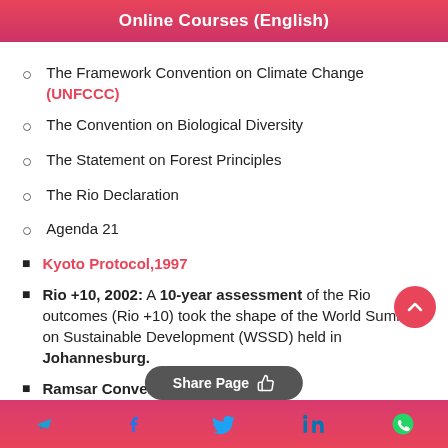Online Courses (English)
The Framework Convention on Climate Change (UNFCCC)
The Convention on Biological Diversity
The Statement on Forest Principles
The Rio Declaration
Agenda 21
Kyoto Protocol,1997
Rio +10, 2002: A 10-year assessment of the Rio outcomes (Rio +10) took the shape of the World Summit on Sustainable Development (WSSD) held in Johannesburg.
Ramsar Convention, 1971
Share Page [social icons: Telegram, Facebook, Twitter, LinkedIn, WhatsApp]